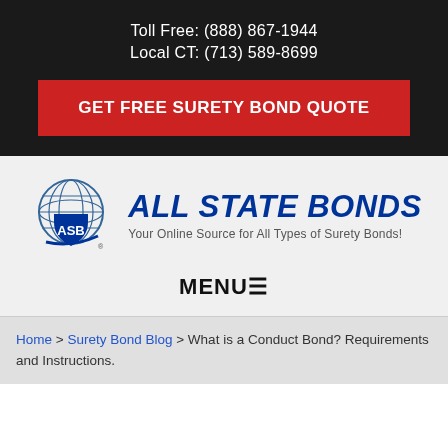Toll Free: (888) 867-1944
Local CT: (713) 589-8699
GET FREE SURETY BOND QUOTE
[Figure (logo): All State Bonds logo with globe and ASB shield icon, company name in bold italic blue text, tagline 'Your Online Source for All Types of Surety Bonds!']
MENU≡
Home > Surety Bond Blog > What is a Conduct Bond? Requirements and Instructions.